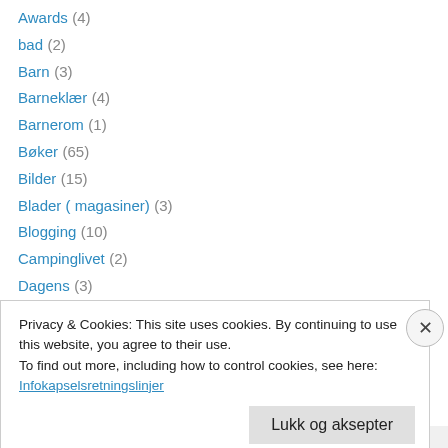Awards (4)
bad (2)
Barn (3)
Barneklær (4)
Barnerom (1)
Bøker (65)
Bilder (15)
Blader ( magasiner) (3)
Blogging (10)
Campinglivet (2)
Dagens (3)
Dagens lille lykke (26)
Dagens outfit (8)
Privacy & Cookies: This site uses cookies. By continuing to use this website, you agree to their use.
To find out more, including how to control cookies, see here:
Infokapselsretningslinjer
Lukk og aksepter